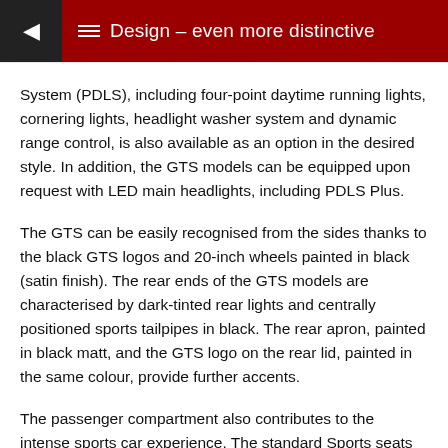Design – even more distinctive
System (PDLS), including four-point daytime running lights, cornering lights, headlight washer system and dynamic range control, is also available as an option in the desired style. In addition, the GTS models can be equipped upon request with LED main headlights, including PDLS Plus.
The GTS can be easily recognised from the sides thanks to the black GTS logos and 20-inch wheels painted in black (satin finish). The rear ends of the GTS models are characterised by dark-tinted rear lights and centrally positioned sports tailpipes in black. The rear apron, painted in black matt, and the GTS logo on the rear lid, painted in the same colour, provide further accents.
The passenger compartment also contributes to the intense sports car experience. The standard Sports seats Plus (two-way, electric) cradle the driver and passenger closely while providing a